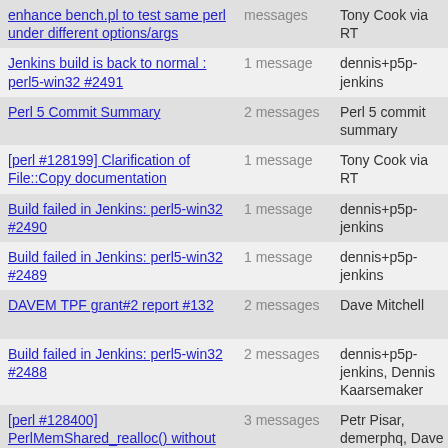| Subject | Messages | Author | Date |
| --- | --- | --- | --- |
| enhance bench.pl to test same perl under different options/args | messages | Tony Cook via RT | Jun 2016 |
| Jenkins build is back to normal : perl5-win32 #2491 | 1 message | dennis+p5p-jenkins | 15 Jun 2016 |
| Perl 5 Commit Summary | 2 messages | Perl 5 commit summary | 18 Jun 2016 |
| [perl #128199] Clarification of File::Copy documentation | 1 message | Tony Cook via RT | 15 Jun 2016 |
| Build failed in Jenkins: perl5-win32 #2490 | 1 message | dennis+p5p-jenkins | 14 Jun 2016 |
| Build failed in Jenkins: perl5-win32 #2489 | 1 message | dennis+p5p-jenkins | 14 Jun 2016 |
| DAVEM TPF grant#2 report #132 | 2 messages | Dave Mitchell | 21 Jun 2016 |
| Build failed in Jenkins: perl5-win32 #2488 | 2 messages | dennis+p5p-jenkins, Dennis Kaarsemaker | 15 Jun 2016 |
| [perl #128400] PerlMemShared_realloc() without checking for fail... | 3 messages | Petr Pisar, demerphq, Dave Mitchell | 14 Jun 2016 |